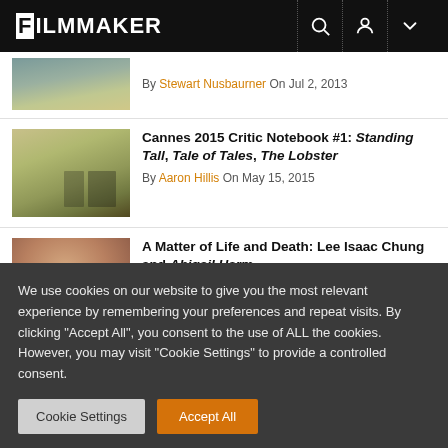FILMMAKER
By Stewart Nusbaurner On Jul 2, 2013
Cannes 2015 Critic Notebook #1: Standing Tall, Tale of Tales, The Lobster
By Aaron Hillis On May 15, 2015
A Matter of Life and Death: Lee Isaac Chung and Abigail Harm
By Howard Feinstein On Aug 28, 2013
We use cookies on our website to give you the most relevant experience by remembering your preferences and repeat visits. By clicking "Accept All", you consent to the use of ALL the cookies. However, you may visit "Cookie Settings" to provide a controlled consent.